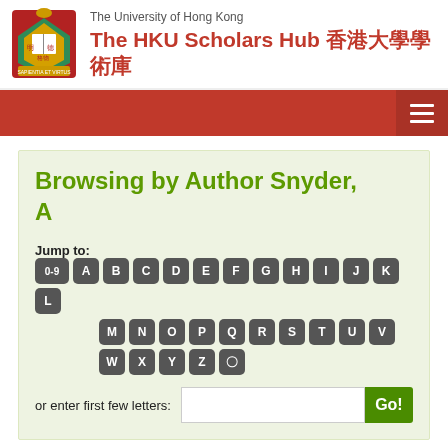The University of Hong Kong — The HKU Scholars Hub 香港大學學術庫
Browsing by Author Snyder, A
Jump to: 0-9 A B C D E F G H I J K L M N O P Q R S T U V W X Y Z 〇
or enter first few letters:
Showing results 1 to 4 of 4
|  |  |  | Issue Date |
| --- | --- | --- | --- |